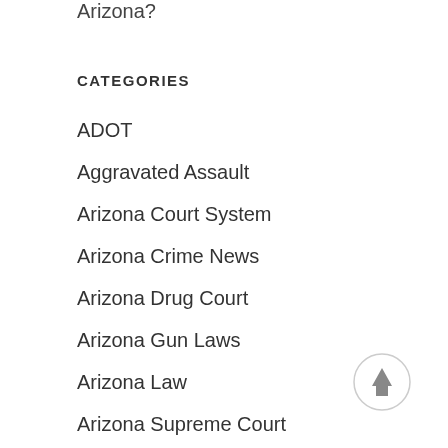Arizona?
CATEGORIES
ADOT
Aggravated Assault
Arizona Court System
Arizona Crime News
Arizona Drug Court
Arizona Gun Laws
Arizona Law
Arizona Supreme Court
Assault
[Figure (other): Back to top arrow button — circular grey-bordered button with upward arrow icon]